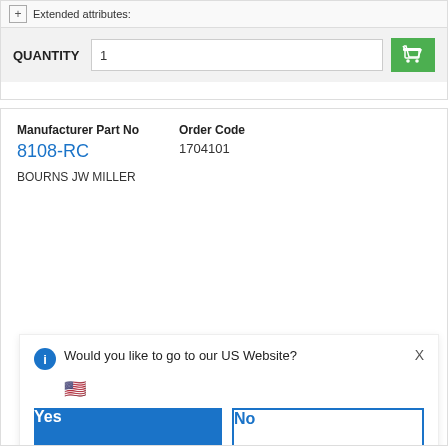Extended attributes:
QUANTITY  1
Manufacturer Part No
8108-RC
BOURNS JW MILLER
Order Code
1704101
Would you like to go to our US Website?
Yes
No
or  Choose country
Remember this choice and automatically redirect me in the future